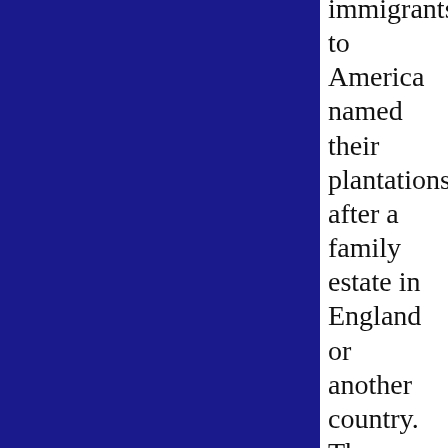[Figure (other): Dark navy blue rectangular panel occupying the left two-thirds of the page]
immigrants to America named their plantations after a family estate in England or another country. They carried the family